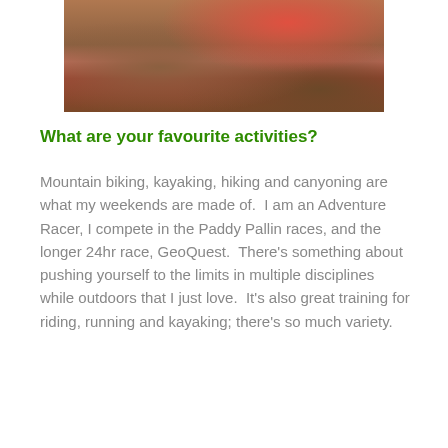[Figure (photo): Top portion of an outdoor photo showing rocky terrain with a person wearing red clothing visible]
What are your favourite activities?
Mountain biking, kayaking, hiking and canyoning are what my weekends are made of.  I am an Adventure Racer, I compete in the Paddy Pallin races, and the longer 24hr race, GeoQuest.  There's something about pushing yourself to the limits in multiple disciplines while outdoors that I just love.  It's also great training for riding, running and kayaking; there's so much variety.
[Figure (photo): Photo of a smiling woman wearing a cycling cap and headlamp outdoors with green trees and mountains in background]